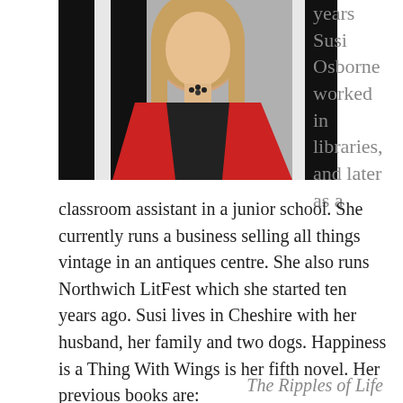[Figure (photo): Portrait photo of Susi Osborne, a woman with long blonde hair wearing a red blazer and black top, posed against a black and white striped background.]
years Susi Osborne worked in libraries, and later as a classroom assistant in a junior school. She currently runs a business selling all things vintage in an antiques centre. She also runs Northwich LitFest which she started ten years ago. Susi lives in Cheshire with her husband, her family and two dogs. Happiness is a Thing With Wings is her fifth novel. Her previous books are:
The Ripples of Life